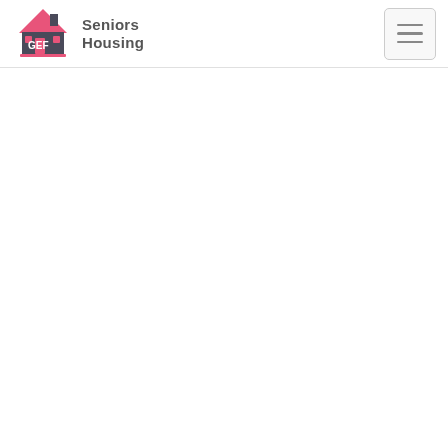[Figure (logo): GEF Seniors Housing logo with pink house icon and grey text reading 'Seniors Housing']
[Figure (other): Hamburger menu button (three horizontal lines) in a rounded rectangle border on the top right of the navigation bar]